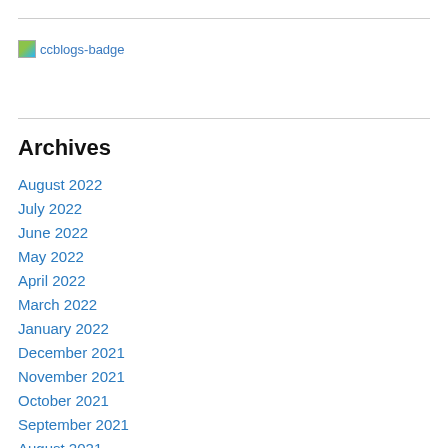[Figure (logo): ccblogs-badge image with broken image icon and blue link text]
Archives
August 2022
July 2022
June 2022
May 2022
April 2022
March 2022
January 2022
December 2021
November 2021
October 2021
September 2021
August 2021